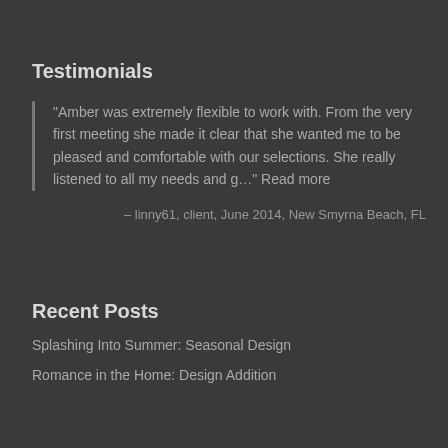Testimonials
"Amber was extremely flexible to work with. From the very first meeting she made it clear that she wanted me to be pleased and comfortable with our selections. She really listened to all my needs and g..." Read more
– linny61, client, June 2014, New Smyrna Beach, FL
Recent Posts
Splashing Into Summer: Seasonal Design
Romance in the Home: Design Addition